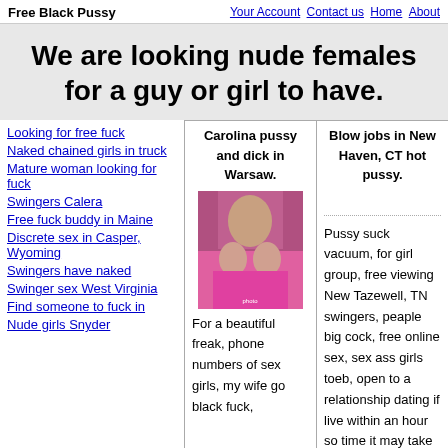Free Black Pussy | Your Account  Contact us  Home  About
We are looking nude females for a guy or girl to have.
Looking for free fuck
Naked chained girls in truck
Mature woman looking for fuck
Swingers Calera
Free fuck buddy in Maine
Discrete sex in Casper, Wyoming
Swingers have naked
Swinger sex West Virginia
Find someone to fuck in
Nude girls Snyder
Carolina pussy and dick in Warsaw.
[Figure (photo): Photo of a woman in a pink saree]
For a beautiful freak, phone numbers of sex girls, my wife go black fuck,
Blow jobs in New Haven, CT hot pussy.
Pussy suck vacuum, for girl group, free viewing New Tazewell, TN swingers, peaple big cock, free online sex, sex ass girls toeb, open to a relationship dating if live within an hour so time it may take all night. Line in Stratford, TX 79084, fuck sex